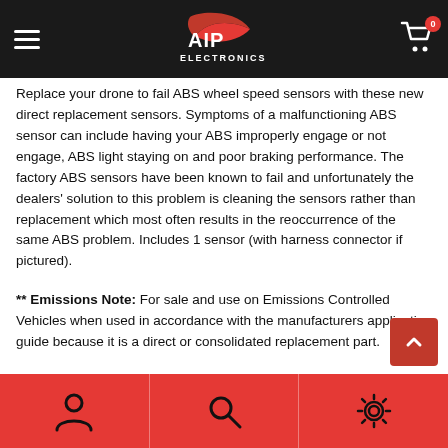[Figure (logo): AIP Electronics logo on dark navigation bar with hamburger menu and cart icon]
Replace your drone to fail ABS wheel speed sensors with these new direct replacement sensors. Symptoms of a malfunctioning ABS sensor can include having your ABS improperly engage or not engage, ABS light staying on and poor braking performance. The factory ABS sensors have been known to fail and unfortunately the dealers' solution to this problem is cleaning the sensors rather than replacement which most often results in the reoccurrence of the same ABS problem. Includes 1 sensor (with harness connector if pictured).
** Emissions Note: For sale and use on Emissions Controlled Vehicles when used in accordance with the manufacturers application guide because it is a direct or consolidated replacement part.
Fitment
2006 Hyundai Accent 1.6L 1600CC I4 GAS DOHC Rear